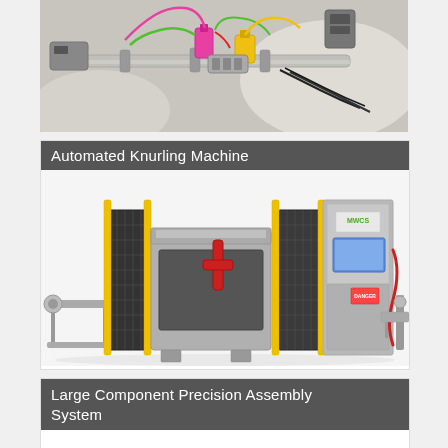[Figure (photo): Close-up overhead photo of industrial laser or printing machine components with colorful wiring (pink, yellow, green cables) on a metal rail/track assembly]
Automated Knurling Machine
[Figure (photo): Photo of an automated knurling machine (MWCS branded) enclosed in metal safety cage with yellow guard posts, conveyor system on right side, and industrial control panel]
Large Component Precision Assembly System